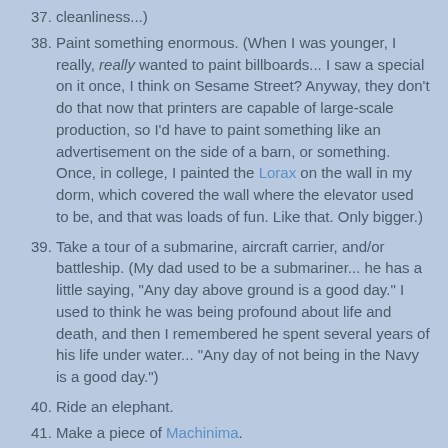cleanliness...)
38. Paint something enormous. (When I was younger, I really, really wanted to paint billboards... I saw a special on it once, I think on Sesame Street? Anyway, they don't do that now that printers are capable of large-scale production, so I'd have to paint something like an advertisement on the side of a barn, or something. Once, in college, I painted the Lorax on the wall in my dorm, which covered the wall where the elevator used to be, and that was loads of fun. Like that. Only bigger.)
39. Take a tour of a submarine, aircraft carrier, and/or battleship. (My dad used to be a submariner... he has a little saying, "Any day above ground is a good day." I used to think he was being profound about life and death, and then I remembered he spent several years of his life under water... "Any day of not being in the Navy is a good day.")
40. Ride an elephant.
41. Make a piece of Machinima.
42. Be carried across a threshold. (involves weighing a...